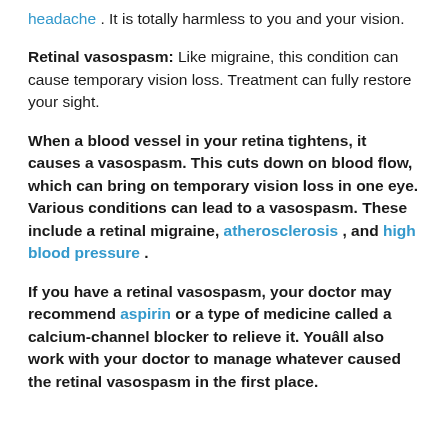headache . It is totally harmless to you and your vision.
Retinal vasospasm: Like migraine, this condition can cause temporary vision loss. Treatment can fully restore your sight.
When a blood vessel in your retina tightens, it causes a vasospasm. This cuts down on blood flow, which can bring on temporary vision loss in one eye. Various conditions can lead to a vasospasm. These include a retinal migraine, atherosclerosis , and high blood pressure .
If you have a retinal vasospasm, your doctor may recommend aspirin or a type of medicine called a calcium-channel blocker to relieve it. Youâll also work with your doctor to manage whatever caused the retinal vasospasm in the first place.